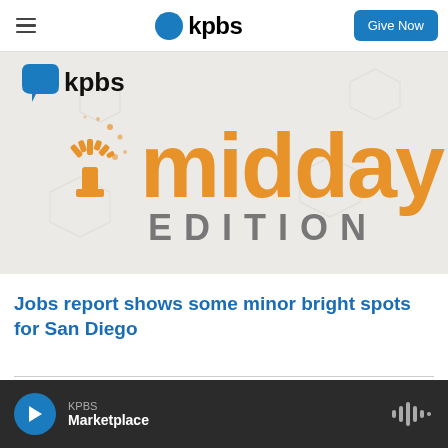KPBS — Give Now
[Figure (logo): KPBS Midday Edition logo on light gray background with orange 'midday' text and 'EDITION' in gray, accompanied by an orange starburst/satellite dish graphic and KPBS bubble logo in blue.]
Jobs report shows some minor bright spots for San Diego
LATEST IN NEWS (partially visible)
KPBS — Marketplace (audio player bar)